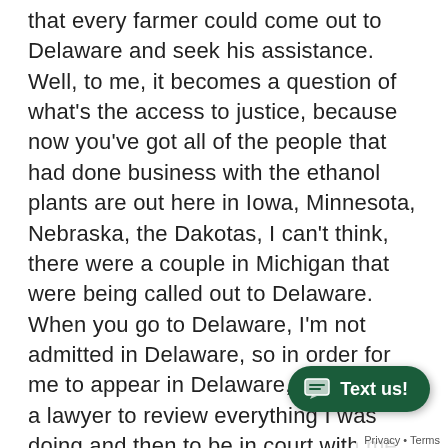that every farmer could come out to Delaware and seek his assistance. Well, to me, it becomes a question of what's the access to justice, because now you've got all of the people that had done business with the ethanol plants are out here in Iowa, Minnesota, Nebraska, the Dakotas, I can't think, there were a couple in Michigan that were being called out to Delaware. When you go to Delaware, I'm not admitted in Delaware, so in order for me to appear in Delaware, I had to hire a lawyer to review everything I was doing and then to be in court with me to introduce me to the judge and ask the judge for permission to allow me to talk. You know, Delaware is a long way from Charles City, Iowa, so what we've been doing is working to see if there's a way to make this more fair and to provide people with access to the courts. And so what we'd is some language in a bill that we believe is going to